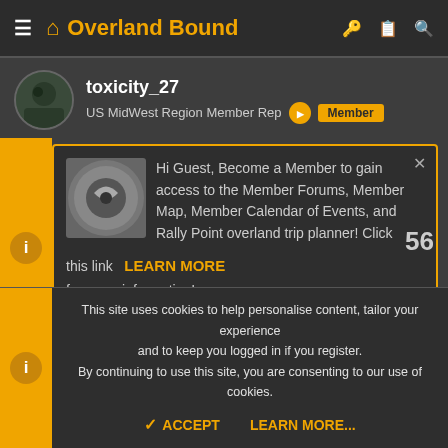Overland Bound
toxicity_27
US MidWest Region Member Rep  Member
Hi Guest, Become a Member to gain access to the Member Forums, Member Map, Member Calendar of Events, and Rally Point overland trip planner! Click this link LEARN MORE for more information!
Aug 15, 2015  #3
This site uses cookies to help personalise content, tailor your experience and to keep you logged in if you register. By continuing to use this site, you are consenting to our use of cookies.
ACCEPT  LEARN MORE...